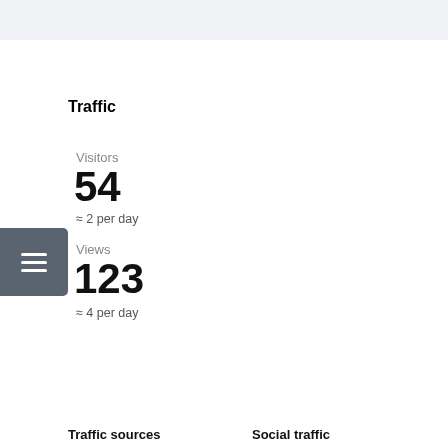Traffic
Visitors
54
≈ 2 per day
Views
123
≈ 4 per day
Traffic sources
Social traffic